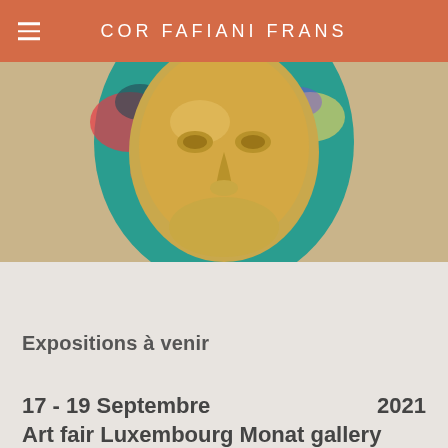COR FAFIANI FRANS
[Figure (photo): Close-up photograph of a golden metallic face sculpture with teal/colorful surround, on a beige background]
Expositions à venir
17 - 19 Septembre  2021
Art fair Luxembourg Monat gallery
4 Fevrier - 6 March  2022